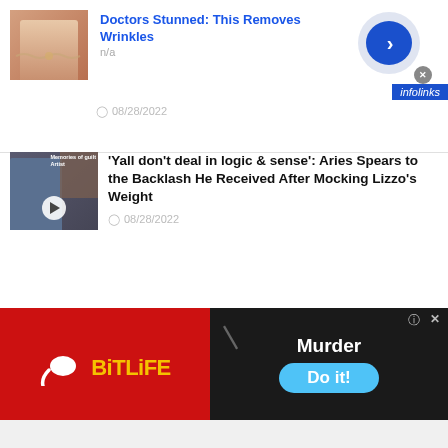[Figure (screenshot): Ad thumbnail showing a neck/jewelry close-up photo]
Doctors Stunned: This Removes Wrinkles
n/a
[Figure (screenshot): Infolinks ad navigation arrow circle button]
08/28/2022
[Figure (screenshot): infolinks brand badge]
[Figure (screenshot): Article thumbnail with video play button showing a person]
'Yall don't deal in logic & sense': Aries Spears to the Backlash He Received After Mocking Lizzo's Weight
08/28/2022
[Figure (screenshot): BitLife mobile game advertisement banner with Murder / Do it! text]